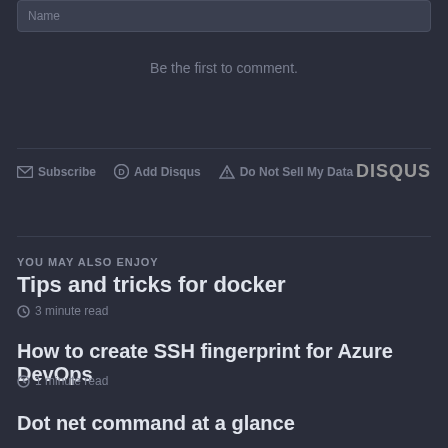Name
Be the first to comment.
Subscribe  Add Disqus  Do Not Sell My Data  DISQUS
YOU MAY ALSO ENJOY
Tips and tricks for docker
3 minute read
How to create SSH fingerprint for Azure DevOps
1 minute read
Dot net command at a glance